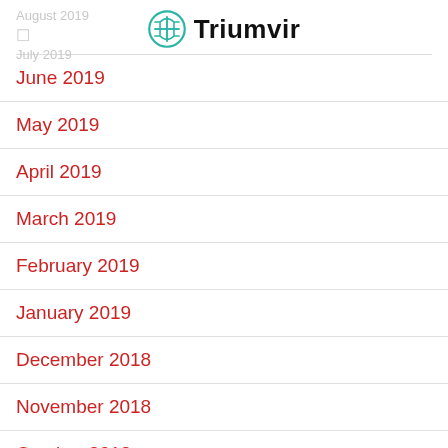August 2019 / July 2019 | Triumvir
June 2019
May 2019
April 2019
March 2019
February 2019
January 2019
December 2018
November 2018
October 2018
September 2018